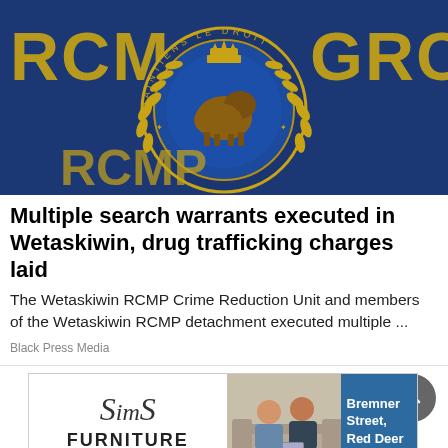[Figure (photo): Close-up photo of an RCMP badge/crest on dark blue fabric, showing the gold-colored Royal Canadian Mounted Police emblem with laurel wreath and central bison crest design, with partial 'RCMP' and 'GRC' text visible around the edges]
Multiple search warrants executed in Wetaskiwin, drug trafficking charges laid
The Wetaskiwin RCMP Crime Reduction Unit and members of the Wetaskiwin RCMP detachment executed multiple ...
Black Press Media
[Figure (photo): Sims Furniture advertisement banner showing two men sitting on a couch/sofa, with the Sims Furniture logo on the left and 'Bremner Street, Red Deer' text on the right side on a blue background]